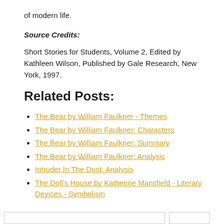of modern life.
Source Credits:
Short Stories for Students, Volume 2, Edited by Kathleen Wilson, Published by Gale Research, New York, 1997.
Related Posts:
The Bear by William Faulkner - Themes
The Bear by William Faulkner: Characters
The Bear by William Faulkner: Summary
The Bear by William Faulkner: Analysis
Intruder In The Dust: Analysis
The Doll's House by Katherine Mansfield - Literary Devices - Symbolism